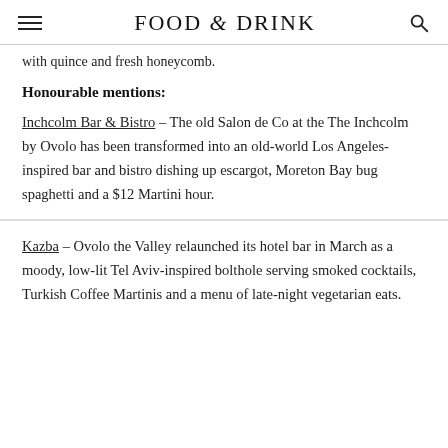FOOD & DRINK
with quince and fresh honeycomb.
Honourable mentions:
Inchcolm Bar & Bistro – The old Salon de Co at the The Inchcolm by Ovolo has been transformed into an old-world Los Angeles-inspired bar and bistro dishing up escargot, Moreton Bay bug spaghetti and a $12 Martini hour.
Kazba – Ovolo the Valley relaunched its hotel bar in March as a moody, low-lit Tel Aviv-inspired bolthole serving smoked cocktails, Turkish Coffee Martinis and a menu of late-night vegetarian eats.